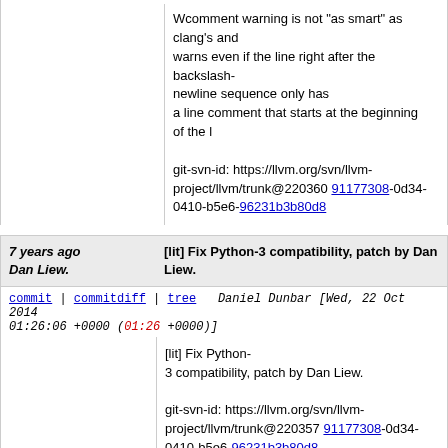Wcomment warning is not "as smart" as clang's and warns even if the line right after the backslash-newline sequence only has a line comment that starts at the beginning of the l

git-svn-id: https://llvm.org/svn/llvm-project/llvm/trunk@220360 91177308-0d34-0410-b5e6-96231b3b80d8
7 years ago Dan Liew.   [lit] Fix Python-3 compatibility, patch by Dan Liew.
commit | commitdiff | tree   Daniel Dunbar [Wed, 22 Oct 2014 01:26:06 +0000 (01:26 +0000)]
[lit] Fix Python-3 compatibility, patch by Dan Liew.

git-svn-id: https://llvm.org/svn/llvm-project/llvm/trunk@220357 91177308-0d34-0410-b5e6-96231b3b80d8
7 years ago   [lit] Bump version number.
commit | commitdiff | tree   Daniel Dunbar [Wed, 22 Oct 2014 00:48:23 +0000 (00:48 +0000)]
[lit] Bump version number.